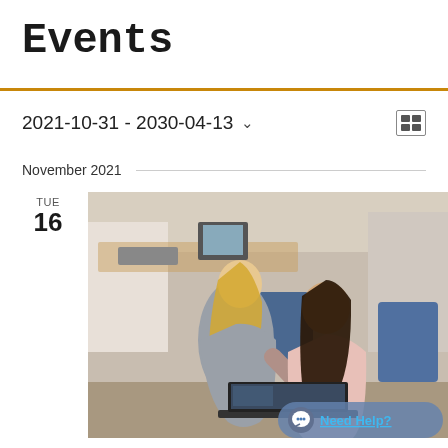Events
2021-10-31 - 2030-04-13 ˅
November 2021
TUE
16
[Figure (photo): Two women in a classroom/computer lab setting looking at a laptop. One woman with blonde hair is leaning over, the other with dark hair is seated. Blue office chairs and desks visible in the background with other people.]